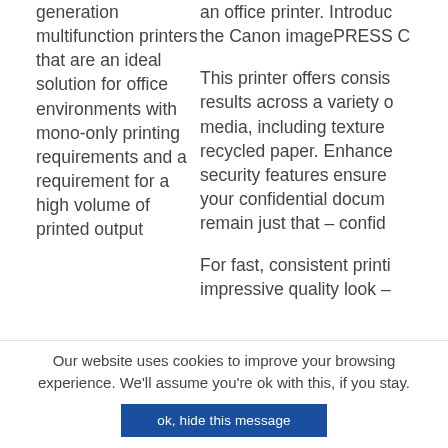generation multifunction printers that are an ideal solution for office environments with mono-only printing requirements and a requirement for a high volume of printed output
an office printer. Introducing the Canon imagePRESS C

This printer offers consistent results across a variety of media, including textured recycled paper. Enhanced security features ensure your confidential documents remain just that – confidential.

For fast, consistent printing impressive quality look –
Our website uses cookies to improve your browsing experience. We'll assume you're ok with this, if you stay.
ok, hide this message